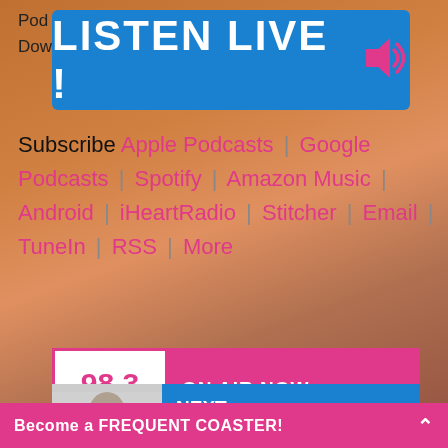Pod...
Dow...
[Figure (other): Listen Live button banner with blue background, white bold text 'LISTEN LIVE !' and pink speaker icon]
Subscribe Apple Podcasts | Google Podcasts | Spotify | Amazon Music | Android | iHeartRadio | Stitcher | Email | TuneIn | RSS | More
[Figure (other): 98.3 The Coast radio station On Air Now widget showing 'ON AIR NOW - The Best Mix While You Work' in pink]
[Figure (other): Next show widget showing photo of man and 'NEXT - Mark Hamlin' in blue]
Become a FREQUENT COASTER!